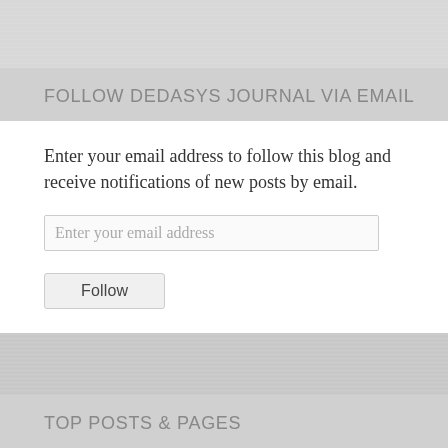FOLLOW DEDASYS JOURNAL VIA EMAIL
Enter your email address to follow this blog and receive notifications of new posts by email.
TOP POSTS & PAGES
Where Tcl and Tk Went Wrong